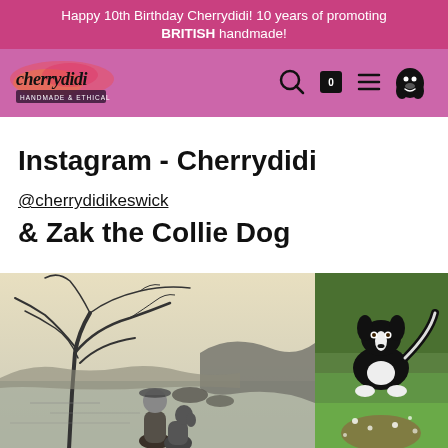Happy 10th Birthday Cherrydidi! 10 years of promoting BRITISH handmade!
[Figure (logo): Cherrydidi logo with handmade & ethical text on pink/purple nav bar with search, bag (0), menu and dog icons]
Instagram - Cherrydidi @cherrydidikeswick & Zak the Collie Dog
[Figure (illustration): Pen and ink style illustration showing a person wearing a hat sitting with a dog by a coastal lake scene with a windswept tree]
[Figure (photo): Photo of a black and white collie dog on green grass]